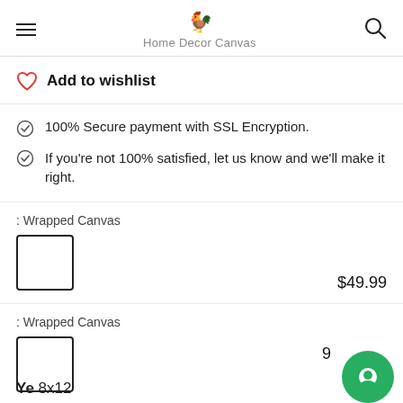Home Decor Canvas
Add to wishlist
100% Secure payment with SSL Encryption.
If you're not 100% satisfied, let us know and we'll make it right.
: Wrapped Canvas
$49.99
: Wrapped Canvas
Ye 8x12